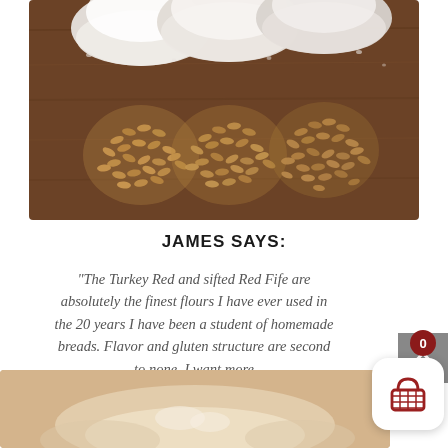[Figure (photo): Three piles of wheat/grain seeds on a wooden cutting board with three corresponding piles of white flour above them, photographed from above.]
JAMES SAYS:
“The Turkey Red and sifted Red Fife are absolutely the finest flours I have ever used in the 20 years I have been a student of homemade breads. Flavor and gluten structure are second to none. I want more
[Figure (photo): Close-up photo of flour or dough, partially visible at the bottom of the page.]